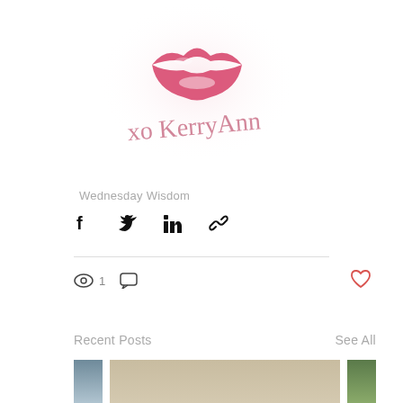[Figure (illustration): Pink lips illustration with a cursive signature reading 'xo KerryAnn' below, with a soft pink glow/blur effect]
Wednesday Wisdom
[Figure (infographic): Social share icons: Facebook, Twitter, LinkedIn, and link/chain icon]
[Figure (infographic): Post stats: eye/views icon with count 1, comment bubble icon, and a heart/like icon in red on the right]
Recent Posts
See All
[Figure (photo): Three thumbnail images of recent posts: left shows a building exterior, middle shows an interior room, right shows outdoor greenery]